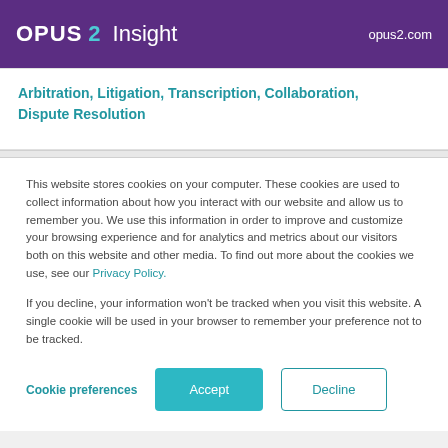OPUS2 Insight  opus2.com
Arbitration, Litigation, Transcription, Collaboration, Dispute Resolution
This website stores cookies on your computer. These cookies are used to collect information about how you interact with our website and allow us to remember you. We use this information in order to improve and customize your browsing experience and for analytics and metrics about our visitors both on this website and other media. To find out more about the cookies we use, see our Privacy Policy.
If you decline, your information won't be tracked when you visit this website. A single cookie will be used in your browser to remember your preference not to be tracked.
Cookie preferences  Accept  Decline